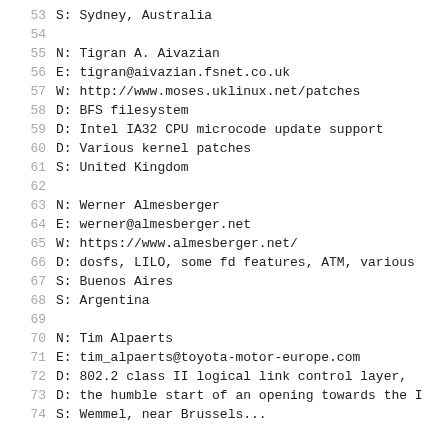53    S: Sydney, Australia
54
55    N: Tigran A. Aivazian
56    E: tigran@aivazian.fsnet.co.uk
57    W: http://www.moses.uklinux.net/patches
58    D: BFS filesystem
59    D: Intel IA32 CPU microcode update support
60    D: Various kernel patches
61    S: United Kingdom
62
63    N: Werner Almesberger
64    E: werner@almesberger.net
65    W: https://www.almesberger.net/
66    D: dosfs, LILO, some fd features, ATM, various
67    S: Buenos Aires
68    S: Argentina
69
70    N: Tim Alpaerts
71    E: tim_alpaerts@toyota-motor-europe.com
72    D: 802.2 class II logical link control layer,
73    D: the humble start of an opening towards the I
74    S: Wemmel, near Brussels...